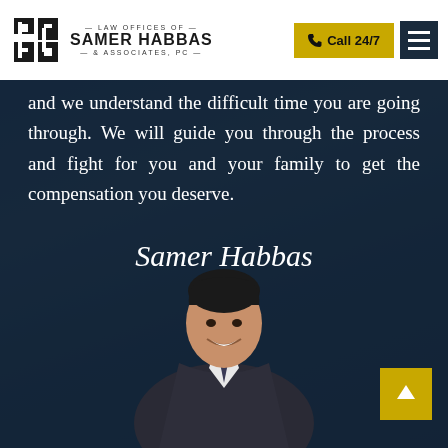Law Offices of Samer Habbas & Associates, PC — Call 24/7
and we understand the difficult time you are going through. We will guide you through the process and fight for you and your family to get the compensation you deserve.
Samer Habbas
[Figure (photo): Professional headshot of attorney Samer Habbas in a dark suit with tie, smiling, against a blurred background]